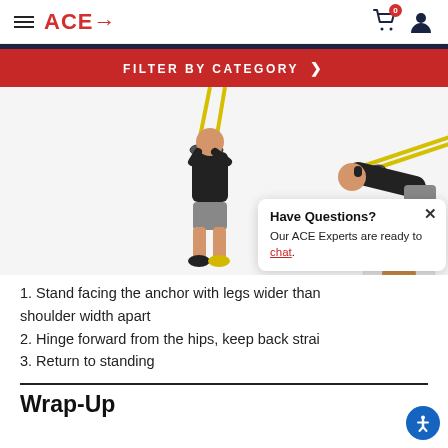ACE→  [cart icon with badge 0] [user icon]
FILTER BY CATEGORY >
[Figure (photo): Two men performing TRX suspension trainer exercises — one standing upright holding straps, one hinging forward from the hips with back straight, both holding yellow TRX handles]
1. Stand facing the anchor with legs wider than shoulder width apart
2. Hinge forward from the hips, keep back strai
3. Return to standing
Wrap-Up